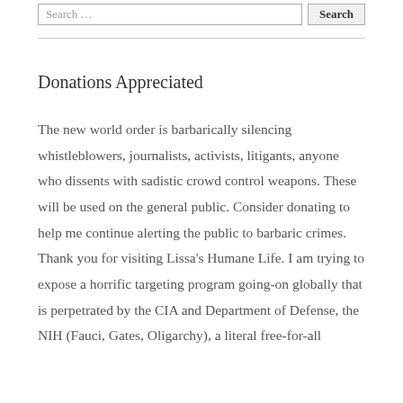[Figure (other): Search bar with text input field showing 'Search …' placeholder and a 'Search' button]
Donations Appreciated
The new world order is barbarically silencing whistleblowers, journalists, activists, litigants, anyone who dissents with sadistic crowd control weapons. These will be used on the general public. Consider donating to help me continue alerting the public to barbaric crimes. Thank you for visiting Lissa's Humane Life. I am trying to expose a horrific targeting program going-on globally that is perpetrated by the CIA and Department of Defense, the NIH (Fauci, Gates, Oligarchy), a literal free-for-all